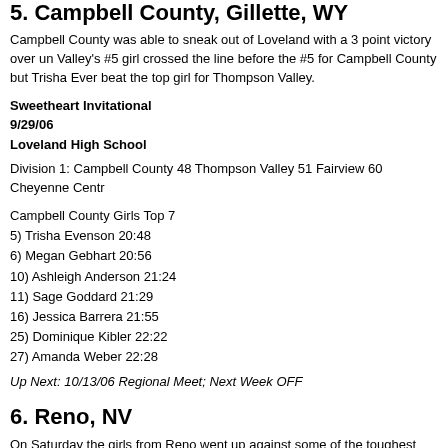5. Campbell County, Gillette, WY
Campbell County was able to sneak out of Loveland with a 3 point victory over un... Valley's #5 girl crossed the line before the #5 for Campbell County but Trisha Ever... beat the top girl for Thompson Valley.
Sweetheart Invitational
9/29/06
Loveland High School
Division 1: Campbell County 48 Thompson Valley 51 Fairview 60 Cheyenne Centr...
Campbell County Girls Top 7
5) Trisha Evenson 20:48
6) Megan Gebhart 20:56
10) Ashleigh Anderson 21:24
11) Sage Goddard 21:29
16) Jessica Barrera 21:55
25) Dominique Kibler 22:22
27) Amanda Weber 22:28
Up Next: 10/13/06 Regional Meet; Next Week OFF
6. Reno, NV
On Saturday the girls from Reno went up against some of the toughest competitio... Girls Seeded race included Corona del Mar (US#2), Torrey Pines (US#7), Jesuit (U... Davis(CA#8), Royal (CA#9),and rival South Tahoe(SW#8). Reno finished 7th in th... above mentioned ranked teams and unranked Trabuco Hills of California. They we... finished 10th. Reno, as usual, was paced by Mel Lawrence who turned in the faste... had to be a little disappointed in their performance as their usual #2 Nicole Lajeun...
Stanford Invitational
9/30/06